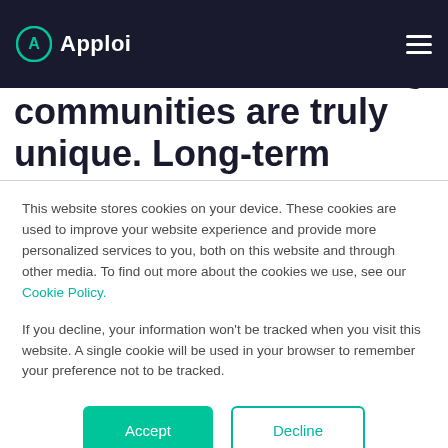Apploi
Among healthcare facilities, assisted living communities are truly unique. Long-term residents and competition with home healthcare mean that community is especially important in assisted
This website stores cookies on your device. These cookies are used to improve your website experience and provide more personalized services to you, both on this website and through other media. To find out more about the cookies we use, see our Cookie Policy.
If you decline, your information won't be tracked when you visit this website. A single cookie will be used in your browser to remember your preference not to be tracked.
Accept   Decline